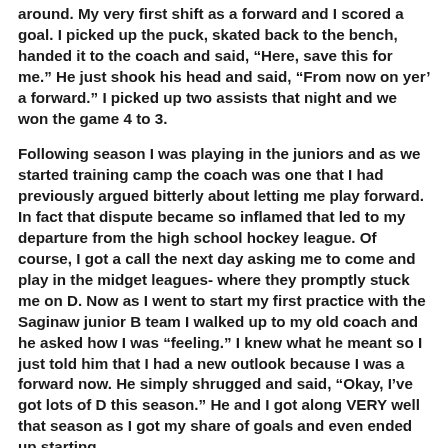around. My very first shift as a forward and I scored a goal. I picked up the puck, skated back to the bench, handed it to the coach and said, “Here, save this for me.” He just shook his head and said, “From now on yer’ a forward.” I picked up two assists that night and we won the game 4 to 3.
Following season I was playing in the juniors and as we started training camp the coach was one that I had previously argued bitterly about letting me play forward. In fact that dispute became so inflamed that led to my departure from the high school hockey league. Of course, I got a call the next day asking me to come and play in the midget leagues- where they promptly stuck me on D. Now as I went to start my first practice with the Saginaw junior B team I walked up to my old coach and he asked how I was “feeling.” I knew what he meant so I just told him that I had a new outlook because I was a forward now. He simply shrugged and said, “Okay, I’ve got lots of D this season.” He and I got along VERY well that season as I got my share of goals and even ended up starting.